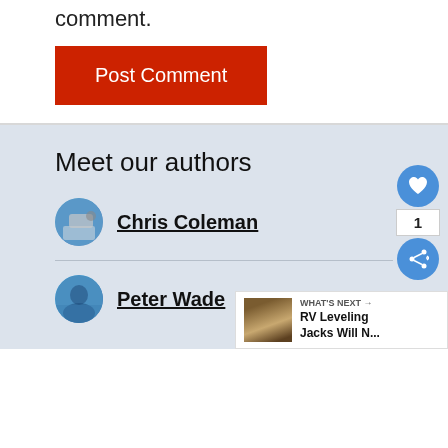comment.
Post Comment
Meet our authors
Chris Coleman
Peter Wade
[Figure (screenshot): What's Next promo bar showing RV Leveling Jacks thumbnail and text 'WHAT'S NEXT → RV Leveling Jacks Will N...']